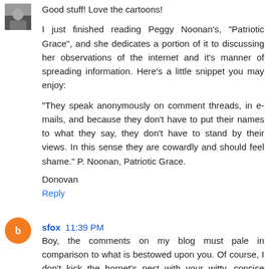[Figure (photo): Small avatar thumbnail photo of a commenter, grayscale/dark tones]
Good stuff! Love the cartoons!

I just finished reading Peggy Noonan's, "Patriotic Grace", and she dedicates a portion of it to discussing her observations of the internet and it's manner of spreading information. Here's a little snippet you may enjoy:

"They speak anonymously on comment threads, in e-mails, and because they don't have to put their names to what they say, they don't have to stand by their views. In this sense they are cowardly and should feel shame." P. Noonan, Patriotic Grace.
Donovan
Reply
[Figure (illustration): Orange circle avatar with white blogger 'b' icon]
sfox 11:39 PM
Boy, the comments on my blog must pale in comparison to what is bestowed upon you. Of course, I don't kick the hornet's nest with your witty, concise enthusiasm, either ;-)